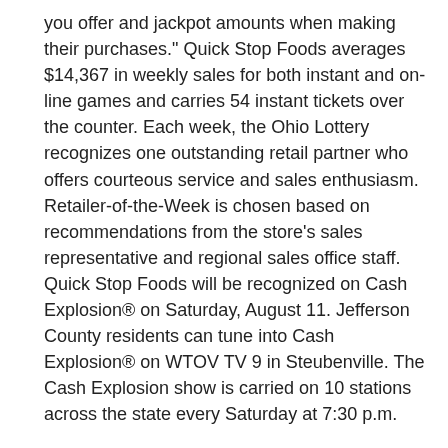you offer and jackpot amounts when making their purchases." Quick Stop Foods averages $14,367 in weekly sales for both instant and on-line games and carries 54 instant tickets over the counter. Each week, the Ohio Lottery recognizes one outstanding retail partner who offers courteous service and sales enthusiasm. Retailer-of-the-Week is chosen based on recommendations from the store's sales representative and regional sales office staff. Quick Stop Foods will be recognized on Cash Explosion® on Saturday, August 11. Jefferson County residents can tune into Cash Explosion® on WTOV TV 9 in Steubenville. The Cash Explosion show is carried on 10 stations across the state every Saturday at 7:30 p.m.
Posted: 8/6/2018 9:00:53 AM